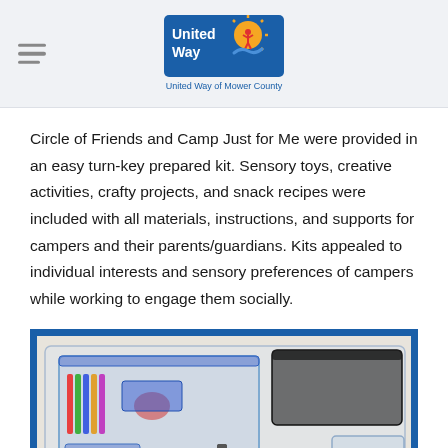United Way of Mower County
Circle of Friends and Camp Just for Me were provided in an easy turn-key prepared kit. Sensory toys, creative activities, crafty projects, and snack recipes were included with all materials, instructions, and supports for campers and their parents/guardians. Kits appealed to individual interests and sensory preferences of campers while working to engage them socially.
[Figure (photo): A clear plastic storage bin/tray containing camp kit items including a clear ziplock bag with assorted items, a dark ziplock bag, a black marker, small containers, and colorful items, shown on a white table surface, framed with a blue border.]